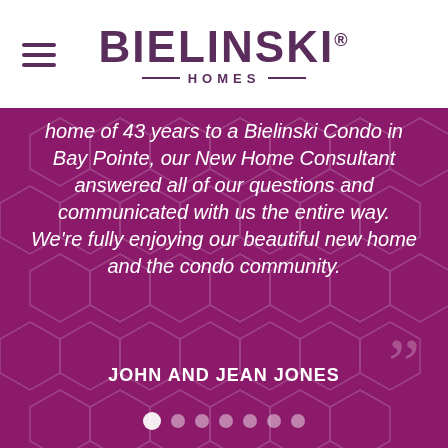[Figure (logo): Bielinski Homes logo with hamburger menu icon on left]
home of 43 years to a Bielinski Condo in Bay Pointe, our New Home Consultant answered all of our questions and communicated with us the entire way. We're fully enjoying our beautiful new home and the condo community.
JOHN AND JEAN JONES